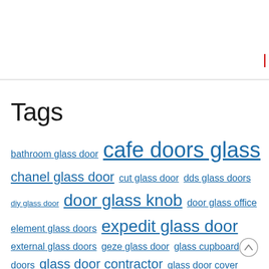Tags
bathroom glass door cafe doors glass chanel glass door cut glass door dds glass doors diy glass door door glass knob door glass office element glass doors expedit glass door external glass doors geze glass door glass cupboard doors glass door contractor glass door cover glass door credenza glass door hinges glass door mirror glass door png glass door